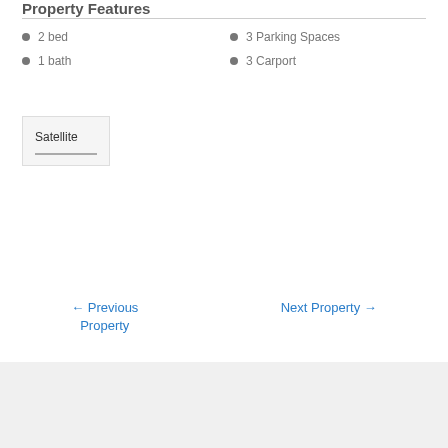Property Features
2 bed
1 bath
3 Parking Spaces
3 Carport
Satellite
← Previous Property
Next Property →